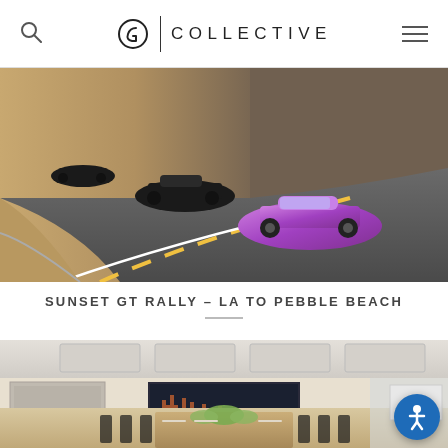G | COLLECTIVE
[Figure (photo): Sports cars including a purple Lamborghini driving on a winding mountain road with rocky terrain in the background]
SUNSET GT RALLY – LA TO PEBBLE BEACH
[Figure (photo): Elegant event dining room with a long set table, dark chairs, floral centerpieces, and automotive artwork on the walls]